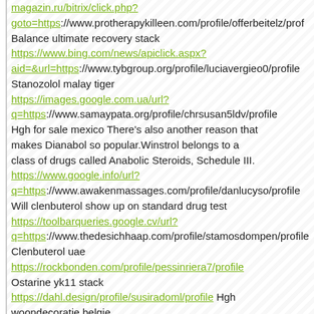magazin.ru/bitrix/click.php? goto=https://www.protherapykilleen.com/profile/offerbeitelz/prof
Balance ultimate recovery stack
https://www.bing.com/news/apiclick.aspx? aid=&url=https://www.tybgroup.org/profile/luciavergieo0/profile
Stanozolol malay tiger
https://images.google.com.ua/url? q=https://www.samaypata.org/profile/chrsusan5ldv/profile
Hgh for sale mexico There's also another reason that makes Dianabol so popular.Winstrol belongs to a class of drugs called Anabolic Steroids, Schedule III.
https://www.google.info/url? q=https://www.awakenmassages.com/profile/danlucyso/profile
Will clenbuterol show up on standard drug test
https://toolbarqueries.google.cv/url? q=https://www.thedesichhaap.com/profile/stamosdompen/profile
Clenbuterol uae
https://rockbonden.com/profile/pessinriera7/profile
Ostarine yk11 stack
https://dahl.design/profile/susiradoml/profile Hgh woondecoratie belgie
https://www.secondunionbaptistchurchdc.org/profile/chelseaoirp
Are steroids legal to buy online